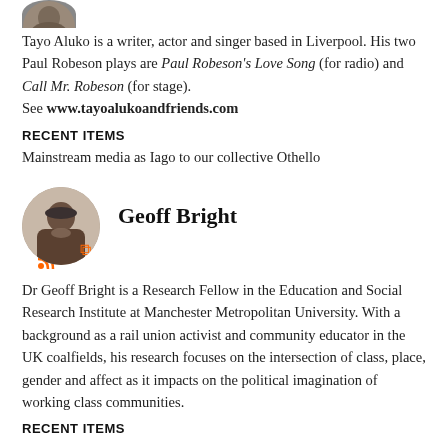[Figure (photo): Circular cropped photo of Tayo Aluko, partially visible at top of page]
Tayo Aluko is a writer, actor and singer based in Liverpool. His two Paul Robeson plays are Paul Robeson's Love Song (for radio) and Call Mr. Robeson (for stage). See www.tayoalukoandfriends.com
RECENT ITEMS
Mainstream media as Iago to our collective Othello
[Figure (photo): Circular cropped photo of Geoff Bright, a bearded man wearing a cap]
Geoff Bright
Dr Geoff Bright is a Research Fellow in the Education and Social Research Institute at Manchester Metropolitan University. With a background as a rail union activist and community educator in the UK coalfields, his research focuses on the intersection of class, place, gender and affect as it impacts on the political imagination of working class communities.
RECENT ITEMS